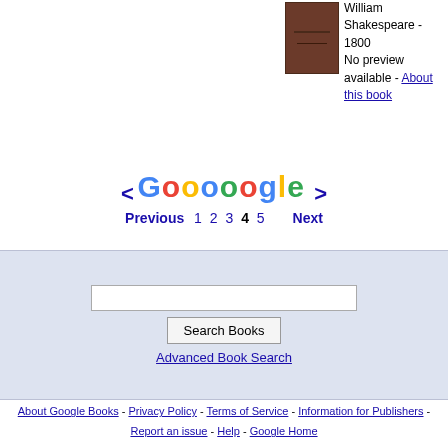[Figure (illustration): Book cover image showing a dark brown/maroon hardcover book]
William Shakespeare - 1800
No preview available - About this book
[Figure (logo): Google logo styled as Goooooogle pagination with colored letters, with < and > navigation arrows]
Previous  1  2  3  4  5  Next
Search Books
Advanced Book Search
About Google Books - Privacy Policy - Terms of Service - Information for Publishers - Report an issue - Help - Google Home